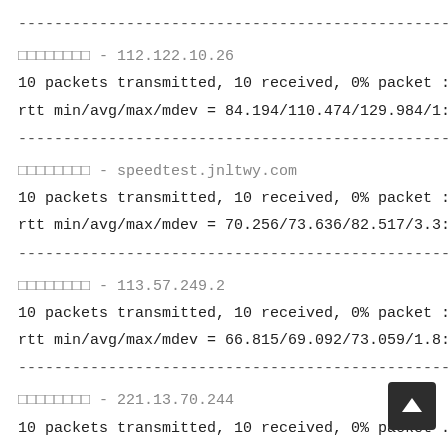-----------------------------------------------------------
- 112.122.10.26
10 packets transmitted, 10 received, 0% packet :
rtt min/avg/max/mdev = 84.194/110.474/129.984/1:
-----------------------------------------------------------
- speedtest.jnltwy.com
10 packets transmitted, 10 received, 0% packet :
rtt min/avg/max/mdev = 70.256/73.636/82.517/3.3:
-----------------------------------------------------------
- 113.57.249.2
10 packets transmitted, 10 received, 0% packet :
rtt min/avg/max/mdev = 66.815/69.092/73.059/1.8:
-----------------------------------------------------------
- 221.13.70.244
10 packets transmitted, 10 received, 0% packet .
rtt min/avg/max/mdev = 134.226/136.577/138.821/: